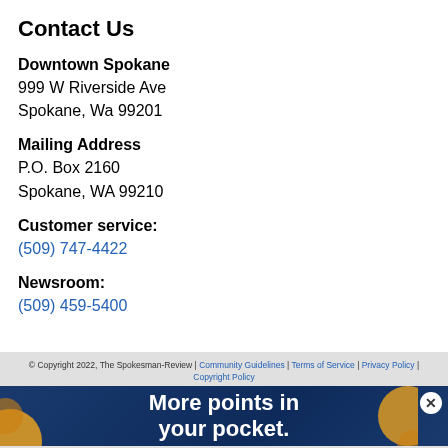Contact Us
Downtown Spokane
999 W Riverside Ave
Spokane, Wa 99201
Mailing Address
P.O. Box 2160
Spokane, WA 99210
Customer service:
(509) 747-4422
Newsroom:
(509) 459-5400
© Copyright 2022, The Spokesman-Review | Community Guidelines | Terms of Service | Privacy Policy | Copyright Policy
[Figure (other): Advertisement banner: 'More points in your pocket.' on dark blue background with decorative orange/yellow swirl graphics]